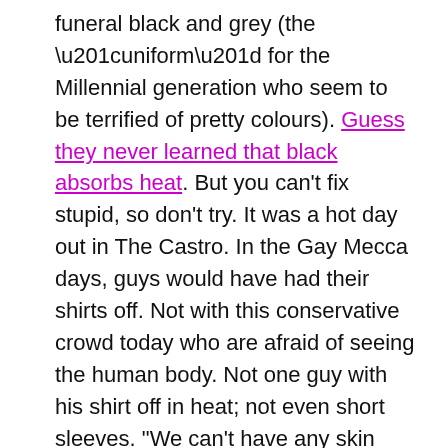funeral black and grey (the “uniform” for the Millennial generation who seem to be terrified of pretty colours). Guess they never learned that black absorbs heat. But you can’t fix stupid, so don’t try. It was a hot day out in The Castro. In the Gay Mecca days, guys would have had their shirts off. Not with this conservative crowd today who are afraid of seeing the human body. Not one guy with his shirt off in heat; not even short sleeves. “We can’t have any skin showing in the new conservative Castro.” So, so conservative. The guys were mostly wearing very conservative dress shirts. In The Castro? They would likely consider it “weird” that a guy had his shirt off. Where did these fucking prudes who moved here with the Tech Industrial Complex come from?
And what do these breeders — some of whom are